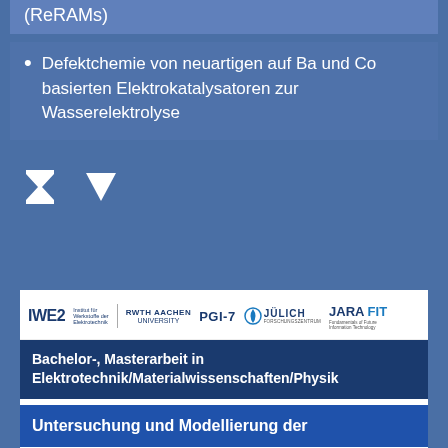(ReRAMs)
Defektchemie von neuartigen auf Ba und Co basierten Elektrokatalysatoren zur Wasserelektrolyse
[Figure (logo): Decorative icons: hourglass/flask symbol and triangle/play symbol]
[Figure (logo): Institution logos: IWE2, RWTH Aachen University, PGI-7, Jülich Forschungszentrum, JARA FIT]
Bachelor-, Masterarbeit in Elektrotechnik/Materialwissenschaften/Physik
Untersuchung und Modellierung der